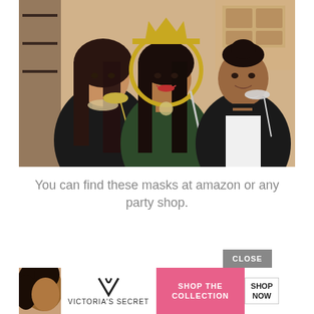[Figure (photo): Three women at a party holding prop mustache and masquerade mask sticks on sticks in front of their faces, smiling. Interior kitchen background. Women wearing black and dark green outfits.]
You can find these masks at amazon or any party shop.
[Figure (screenshot): Victoria's Secret advertisement banner with CLOSE button. Shows model with curly hair on left, VS logo in center, text 'SHOP THE COLLECTION' in pink area, and 'SHOP NOW' button on right.]